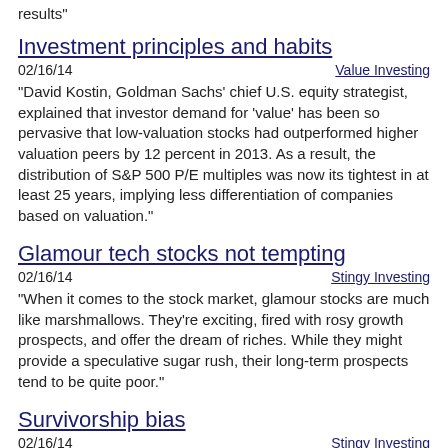results"
Investment principles and habits
02/16/14    Value Investing
"David Kostin, Goldman Sachs' chief U.S. equity strategist, explained that investor demand for 'value' has been so pervasive that low-valuation stocks had outperformed higher valuation peers by 12 percent in 2013. As a result, the distribution of S&P 500 P/E multiples was now its tightest in at least 25 years, implying less differentiation of companies based on valuation."
Glamour tech stocks not tempting
02/16/14    Stingy Investing
"When it comes to the stock market, glamour stocks are much like marshmallows. They're exciting, fired with rosy growth prospects, and offer the dream of riches. While they might provide a speculative sugar rush, their long-term prospects tend to be quite poor."
Survivorship bias
02/16/14    Stingy Investing